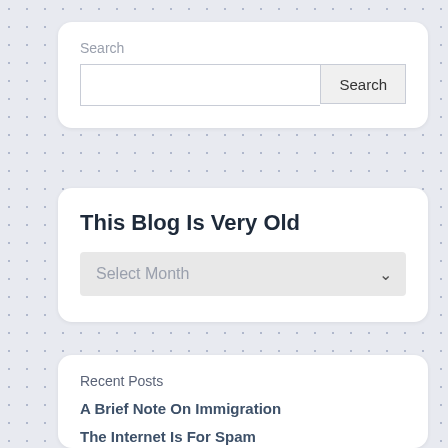Search
[Figure (screenshot): Search input box with a text field and Search button]
This Blog Is Very Old
[Figure (screenshot): Select Month dropdown]
Recent Posts
A Brief Note On Immigration
The Internet Is For Spam
Look Upon Thy Works, You
Pretty Hearthstone Machine
The Adventures Of Mikhail Tal (looks cut off)